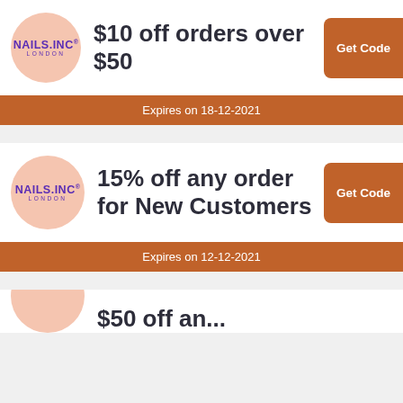[Figure (logo): NAILS.INC LONDON logo on peach circle]
$10 off orders over $50
Get Code
Expires on 18-12-2021
[Figure (logo): NAILS.INC LONDON logo on peach circle]
15% off any order for New Customers
Get Code
Expires on 12-12-2021
[Figure (logo): NAILS.INC LONDON logo on peach circle (partial)]